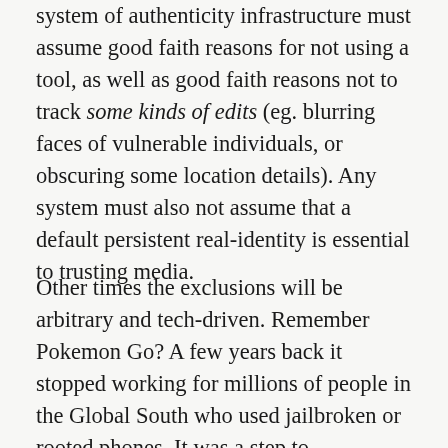system of authenticity infrastructure must assume good faith reasons for not using a tool, as well as good faith reasons not to track some kinds of edits (eg. blurring faces of vulnerable individuals, or obscuring some location details). Any system must also not assume that a default persistent real-identity is essential to trusting media.

Other times the exclusions will be arbitrary and tech-driven. Remember Pokemon Go? A few years back it stopped working for millions of people in the Global South who used jailbroken or rooted phones. It was a step to